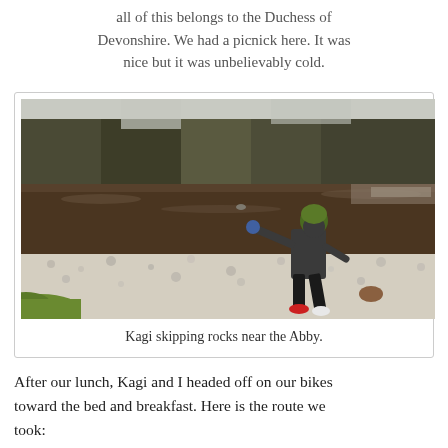all of this belongs to the Duchess of Devonshire. We had a picnick here. It was nice but it was unbelievably cold.
[Figure (photo): A child wearing a green hat and dark jacket throwing or skipping rocks at a river's edge, with a pebbly shore, brown river water, and bare winter trees in the background.]
Kagi skipping rocks near the Abby.
After our lunch, Kagi and I headed off on our bikes toward the bed and breakfast. Here is the route we took: